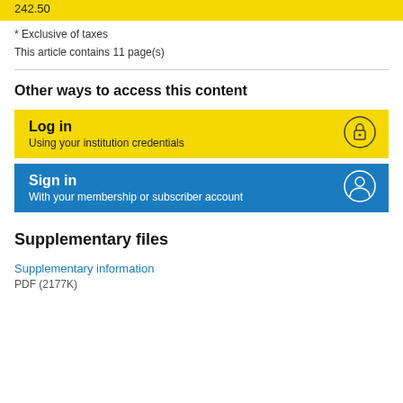242.50
* Exclusive of taxes
This article contains 11 page(s)
Other ways to access this content
[Figure (other): Yellow button: Log in / Using your institution credentials with lock icon]
[Figure (other): Blue button: Sign in / With your membership or subscriber account with person icon]
Supplementary files
Supplementary information
PDF (2177K)